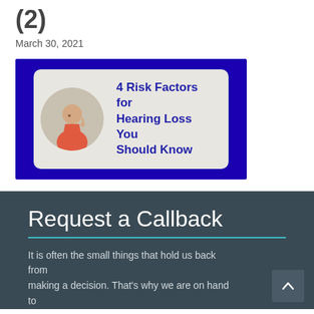(2)
March 30, 2021
[Figure (illustration): Dark blue banner with a rounded rectangle card showing a circular avatar of a man in a red shirt touching his ear, with bold text '4 Risk Factors for Hearing Loss You Should Know' in dark blue on a light beige background.]
Request a Callback
It is often the small things that hold us back from making a decision. That's why we are on hand to